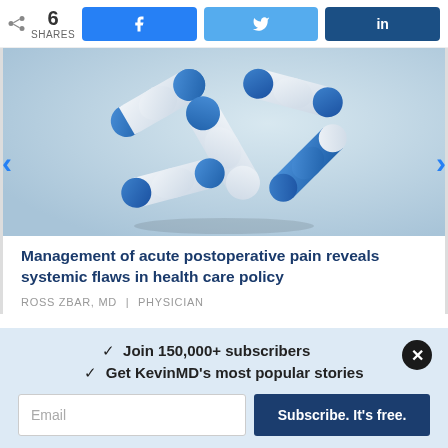6 SHARES | Facebook | Twitter | LinkedIn
[Figure (photo): Blue and white capsule pills falling/floating against a light blue-grey gradient background]
Management of acute postoperative pain reveals systemic flaws in health care policy
ROSS ZBAR, MD | PHYSICIAN
✓  Join 150,000+ subscribers
✓  Get KevinMD's most popular stories
Email | Subscribe. It's free.